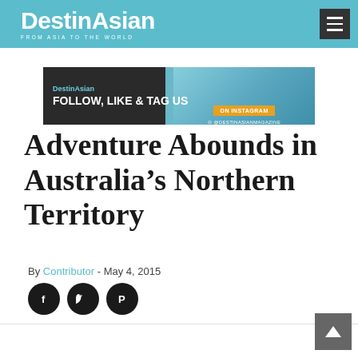DestinAsian — FROM ASIA TO THE WORLD
[Figure (infographic): DestinAsian Instagram promotional banner: FOLLOW, LIKE & TAG US ON INSTAGRAM @destinasianmagazine, with aerial city/beach background]
Adventure Abounds in Australia's Northern Territory
By Contributor - May 4, 2015
[Figure (infographic): Social share icons: Facebook, Twitter, Pinterest (black circles)]